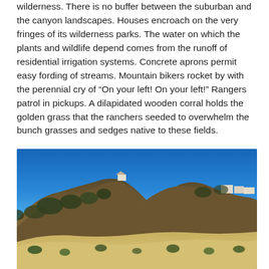wilderness. There is no buffer between the suburban and the canyon landscapes. Houses encroach on the very fringes of its wilderness parks. The water on which the plants and wildlife depend comes from the runoff of residential irrigation systems. Concrete aprons permit easy fording of streams. Mountain bikers rocket by with the perennial cry of “On your left! On your left!” Rangers patrol in pickups. A dilapidated wooden corral holds the golden grass that the ranchers seeded to overwhelm the bunch grasses and sedges native to these fields.
[Figure (photo): Photograph of dry golden hillside with chaparral scrub and scattered shrubs in the foreground, a hill ridge with scattered trees and a house structure visible at the top left, more buildings visible on the right ridge, under a clear bright blue sky.]